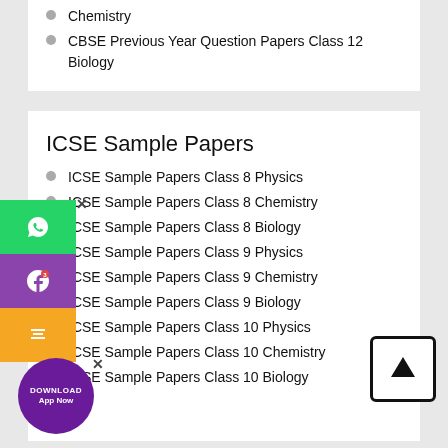Chemistry
CBSE Previous Year Question Papers Class 12 Biology
ICSE Sample Papers
ICSE Sample Papers Class 8 Physics
ICSE Sample Papers Class 8 Chemistry
ICSE Sample Papers Class 8 Biology
ICSE Sample Papers Class 9 Physics
ICSE Sample Papers Class 9 Chemistry
ICSE Sample Papers Class 9 Biology
ICSE Sample Papers Class 10 Physics
ICSE Sample Papers Class 10 Chemistry
ICSE Sample Papers Class 10 Biology